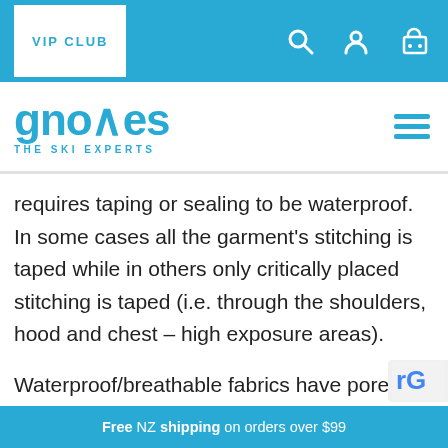[Figure (screenshot): Website navigation bar with VIP CLUB button on blue background, search icon, user icon, and cart icon]
[Figure (logo): Gnomes The Ski Experts logo in blue with hamburger menu icon]
requires taping or sealing to be waterproof. In some cases all the garment’s stitching is taped while in others only critically placed stitching is taped (i.e. through the shoulders, hood and chest – high exposure areas).
Waterproof/breathable fabrics have pores large enough for water vapour to escape, but small enough to prevent liquid passing through. The garment must be able to breathe from the insi
Free NZ shipping on orders over $99